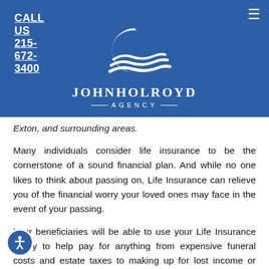CALL US 215-672-3400
[Figure (logo): John Holroyd Agency logo with white wave/crescent graphic on blue background and agency name text]
Exton, and surrounding areas.
Many individuals consider life insurance to be the cornerstone of a sound financial plan. And while no one likes to think about passing on, Life Insurance can relieve you of the financial worry your loved ones may face in the event of your passing.
Your beneficiaries will be able to use your Life Insurance policy to help pay for anything from expensive funeral costs and estate taxes to making up for lost income or funding your child's education. It can even be used to continue payments on your mortgage to help